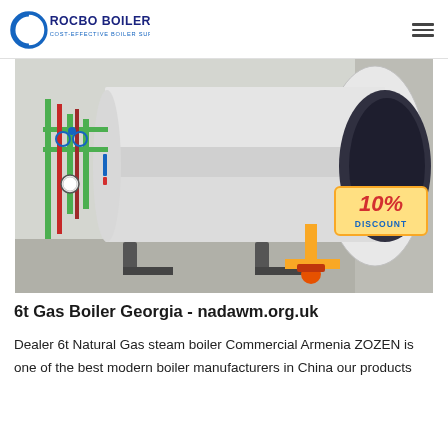ROCBO BOILER - COST-EFFECTIVE BOILER SUPPLIER
[Figure (photo): Industrial gas boiler (horizontal cylindrical stainless steel tank) installed in a room with green and red piping, gauges, and yellow gas fitting. A 10% DISCOUNT badge is overlaid in bottom-right corner.]
6t Gas Boiler Georgia - nadawm.org.uk
Dealer 6t Natural Gas steam boiler Commercial Armenia ZOZEN is one of the best modern boiler manufacturers in China our products